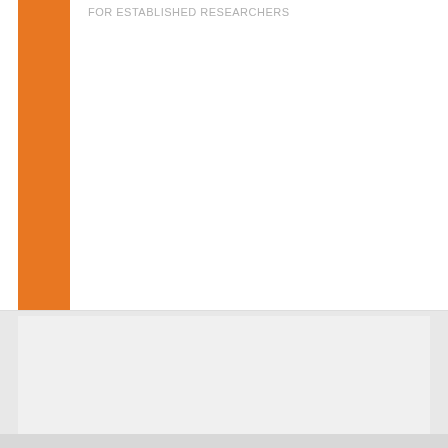FOR ESTABLISHED RESEARCHERS
Results INTER Mobility Call 2018-2
Read more